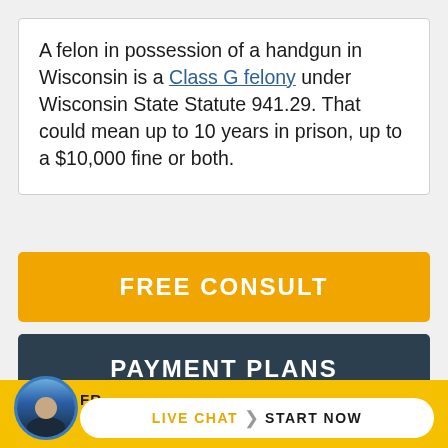A felon in possession of a handgun in Wisconsin is a Class G felony under Wisconsin State Statute 941.29. That could mean up to 10 years in prison, up to a $10,000 fine or both.
[Figure (screenshot): Orange call-to-action button labeled FREE CONSULT]
[Figure (screenshot): Dark teal call-to-action button labeled PAYMENT PLANS]
[Figure (screenshot): Bottom bar with attorney avatar, LIVE CHAT and START NOW pill button on yellow background]